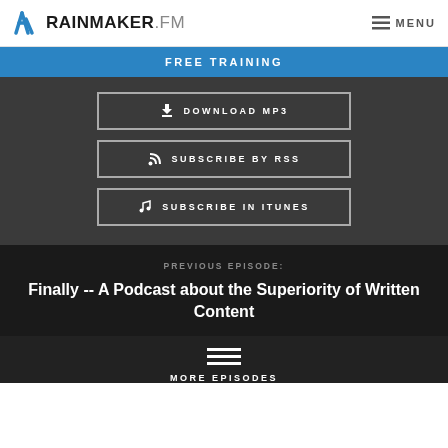RAINMAKER.FM  MENU
FREE TRAINING
DOWNLOAD MP3
SUBSCRIBE BY RSS
SUBSCRIBE IN ITUNES
PREVIOUS EPISODE:
Finally -- A Podcast about the Superiority of Written Content
MORE EPISODES